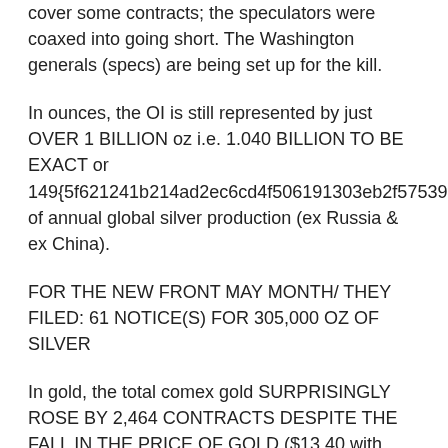cover some contracts; the speculators were coaxed into going short. The Washington generals (specs) are being set up for the kill.
In ounces, the OI is still represented by just OVER 1 BILLION oz i.e. 1.040 BILLION TO BE EXACT or 149{5f621241b214ad2ec6cd4f506191303eb2f57539ef282de243c880c2b328a528} of annual global silver production (ex Russia & ex China).
FOR THE NEW FRONT MAY MONTH/ THEY FILED: 61 NOTICE(S) FOR 305,000 OZ OF SILVER
In gold, the total comex gold SURPRISINGLY ROSE BY 2,464 CONTRACTS DESPITE THE FALL IN THE PRICE OF GOLD ($13.40 with FRIDAY'S TRADING). The total gold OI stands at 475,295 contracts.